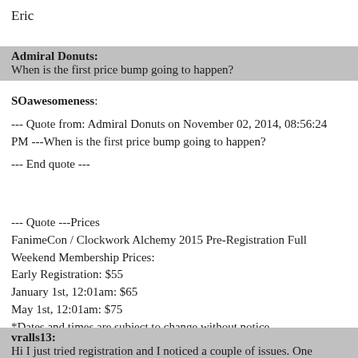Eric
Admiral Donuts: When is the first price bump going to happen?
SOawesomeness:
--- Quote from: Admiral Donuts on November 02, 2014, 08:56:24 PM ---When is the first price bump going to happen?
--- End quote ---
--- Quote ---Prices
FanimeCon / Clockwork Alchemy 2015 Pre-Registration Full Weekend Membership Prices:
Early Registration: $55
January 1st, 12:01am: $65
May 1st, 12:01am: $75
*Dates and times are subject to change without notice
--- End quote ---
vralls13: Hi I just tried registration and I noticed a couple of issues. One